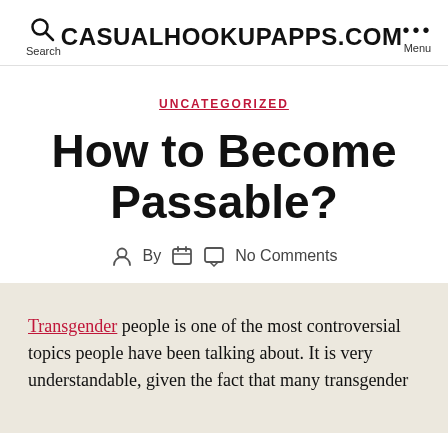Search | CASUALHOOKUPAPPS.COM | Menu
UNCATEGORIZED
How to Become Passable?
By  No Comments
Transgender people is one of the most controversial topics people have been talking about. It is very understandable, given the fact that many transgender